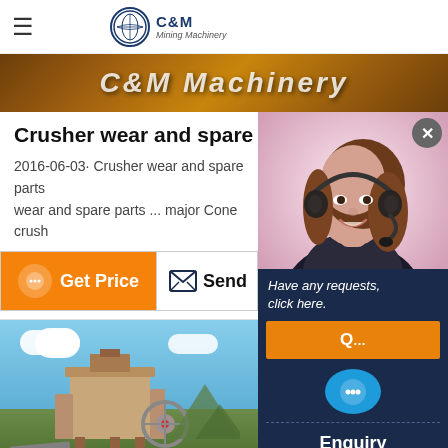C&M Mining Machinery
[Figure (photo): C&M Machinery banner with orange/brown textured background]
Crusher wear and spare parts - Fa
2016-06-03· Crusher wear and spare parts wear and spare parts ... major Cone crush
[Figure (screenshot): Get Price button (orange) and Send button row]
[Figure (photo): Crusher machinery against blue sky background]
[Figure (photo): Customer service representative with headset overlay panel showing: Have any requests click here, Enquiry, drobilkalm@gmail.com, Chat]